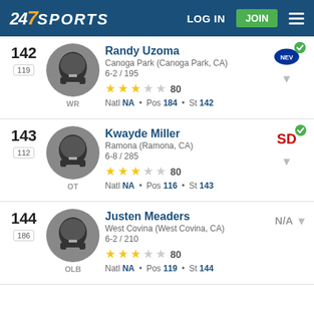247 SPORTS  LOG IN  JOIN
142 | Randy Uzoma | Canoga Park (Canoga Park, CA) | 6-2 / 195 | 80 | Natl NA • Pos 184 • St 142 | WR | Nevada
143 | Kwayde Miller | Ramona (Ramona, CA) | 6-8 / 285 | 80 | Natl NA • Pos 116 • St 143 | OT | San Diego State
144 | Justen Meaders | West Covina (West Covina, CA) | 6-2 / 210 | 80 | Natl NA • Pos 119 • St 144 | OLB | N/A